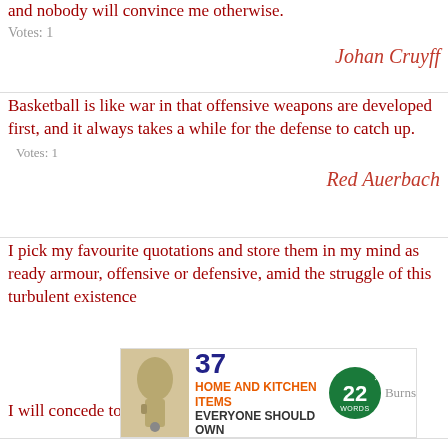and nobody will convince me otherwise.
Votes: 1
Johan Cruyff
Basketball is like war in that offensive weapons are developed first, and it always takes a while for the defense to catch up. Votes: 1
Red Auerbach
I pick my favourite quotations and store them in my mind as ready armour, offensive or defensive, amid the struggle of this turbulent existence. Votes: 1
Burns
[Figure (screenshot): Advertisement overlay: '37 HOME AND KITCHEN ITEMS EVERYONE SHOULD OWN' with a CLOSE button and a circular green badge with '22 WORDS']
I will concede to you one thing - 'Hustler' is